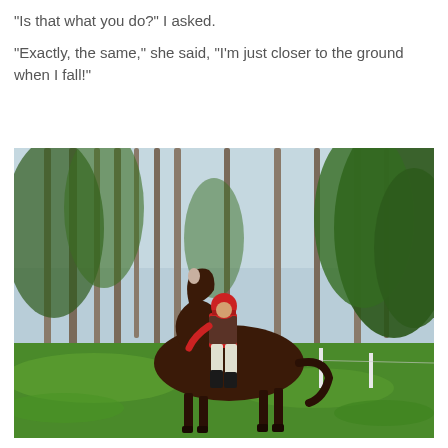“Is that what you do?” I asked.

“Exactly, the same,” she said, “I’m just closer to the ground when I fall!”
[Figure (photo): A person wearing a red shirt, safety vest, and helmet riding a dark brown horse through a forest clearing with tall pine trees and lush green foliage. The horse appears to be cantering/galloping on grass.]